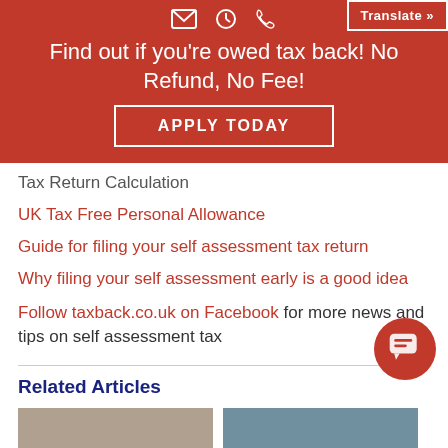Find out if you're owed tax back! No Refund, No Fee!
APPLY TODAY
Tax Return Calculation
UK Tax Free Personal Allowance
Guide for filing your self assessment tax return
Why filing your self assessment early is a good idea
Follow taxback.co.uk on Facebook for more news and tips on self assessment tax
Related Articles
[Figure (photo): Thumbnail image placeholder for related article 1]
[Figure (photo): Thumbnail image placeholder for related article 2]